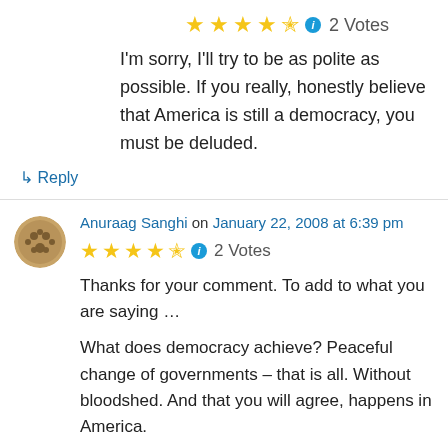[Figure (other): Star rating: 4.5 stars with info icon, 2 Votes]
I'm sorry, I'll try to be as polite as possible. If you really, honestly believe that America is still a democracy, you must be deluded.
↳ Reply
Anuraag Sanghi on January 22, 2008 at 6:39 pm
[Figure (other): Star rating: 4.5 stars with info icon, 2 Votes]
Thanks for your comment. To add to what you are saying …
What does democracy achieve? Peaceful change of governments – that is all. Without bloodshed. And that you will agree, happens in America.